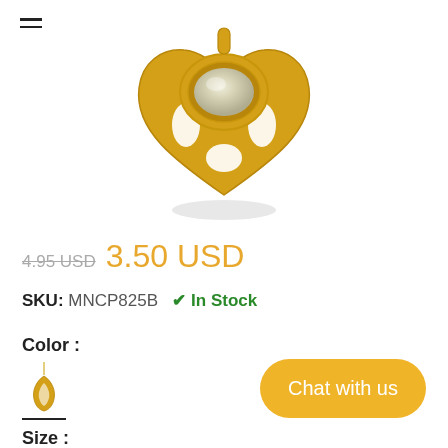[Figure (photo): Gold heart-shaped filigree pendant with oval white/cream moonstone cabochon center, floating with soft shadow below]
4.95 USD  3.50 USD
SKU: MNCP825B   ✔ In Stock
Color :
[Figure (photo): Small thumbnail of a gold teardrop filigree pendant necklace, selected/active color swatch with black underline]
Size :
Chat with us